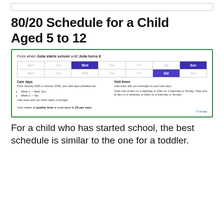80/20 Schedule for a Child Aged 5 to 12
[Figure (infographic): A schedule box with green border showing a two-week calendar for Julia with highlighted days (Wed, Sun in week 1; Sat in week 2), care days info, visit times, and quality time percentage.]
For a child who has started school, the best schedule is similar to the one for a toddler.